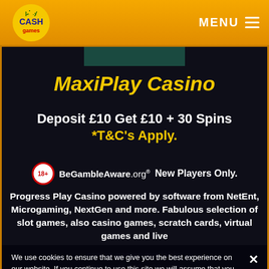PlayCashGames logo | MENU
MaxiPlay Casino
Deposit £10 Get £10 + 30 Spins *T&C's Apply.
18+ BeGambleAware.org  New Players Only.
Progress Play Casino powered by software from NetEnt, Microgaming, NextGen and more. Fabulous selection of slot games, also casino games, scratch cards, virtual games and live casino games available.
100% up to £50 + 30 spins.
We use cookies to ensure that we give you the best experience on our website. If you continue to use this site we will assume that you are happy with it.
Ok    Privacy policy